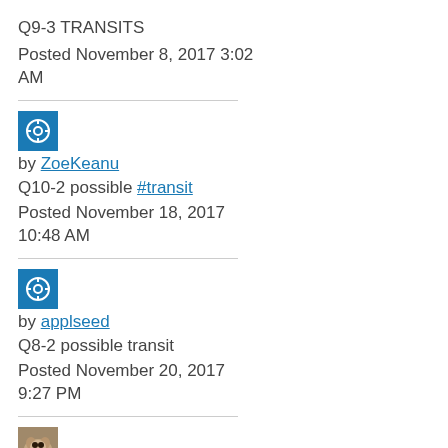Q9-3 TRANSITS
Posted November 8, 2017 3:02 AM
[Figure (illustration): Blue square user avatar icon with circular target/profile symbol]
by ZoeKeanu
Q10-2 possible #transit
Posted November 18, 2017 10:48 AM
[Figure (illustration): Blue square user avatar icon with circular target/profile symbol]
by applseed
Q8-2 possible transit
Posted November 20, 2017 9:27 PM
[Figure (photo): Small thumbnail photo of a cat]
by Corcaroli
Q7-1 #variable #glitch
Posted December 2, 2017 2:54